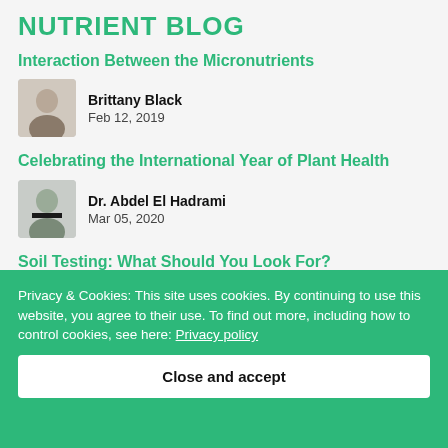NUTRIENT BLOG
Interaction Between the Micronutrients
Brittany Black
Feb 12, 2019
Celebrating the International Year of Plant Health
Dr. Abdel El Hadrami
Mar 05, 2020
Soil Testing: What Should You Look For?
Dr. Abdel El Hadrami
Privacy & Cookies: This site uses cookies. By continuing to use this website, you agree to their use. To find out more, including how to control cookies, see here: Privacy policy
Close and accept